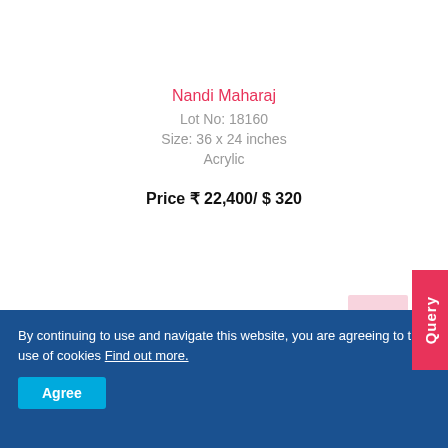Nandi Maharaj
Lot No: 18160
Size: 36 x 24 inches
Acrylic
Price ₹ 22,400/ $ 320
By continuing to use and navigate this website, you are agreeing to the use of cookies Find out more.
Agree